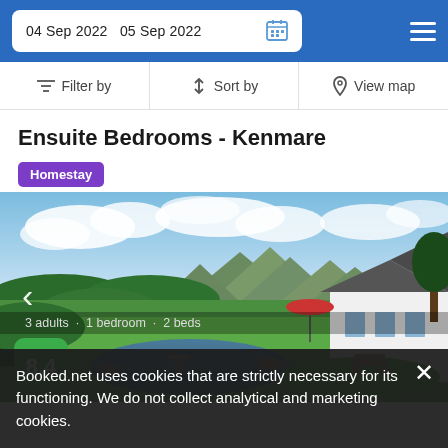04 Sep 2022  05 Sep 2022
Filter by  Sort by  View map
Ensuite Bedrooms - Kenmare
Homestay
[Figure (photo): Scenic countryside photo showing a pond with a small dock, lush green hedges and lawn, mountains in the background under a blue sky with clouds, and a white building with a red umbrella on the right side. A score badge showing 8.4 is overlaid at the bottom left.]
Booked.net uses cookies that are strictly necessary for its functioning. We do not collect analytical and marketing cookies.
3 adults · 1 bedroom · 2 beds